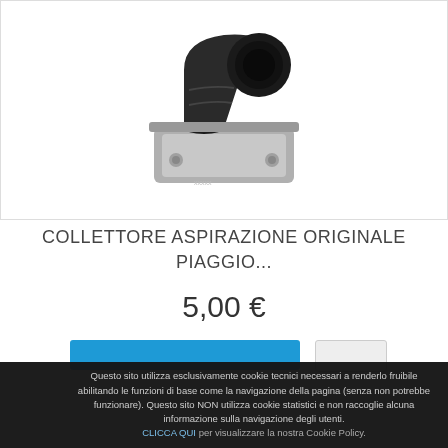[Figure (photo): Intake manifold (collettore aspirazione) part - a dark rubber/metal angled intake manifold with flange, shown on white background]
COLLETTORE ASPIRAZIONE ORIGINALE PIAGGIO...
5,00 €
Questo sito utilizza esclusivamente cookie tecnici necessari a renderlo fruibile abilitando le funzioni di base come la navigazione della pagina (senza non potrebbe funzionare). Questo sito NON utilizza cookie statistici e non raccoglie alcuna informazione sulla navigazione degli utenti. CLICCA QUI per visualizzare la nostra Cookie Policy.